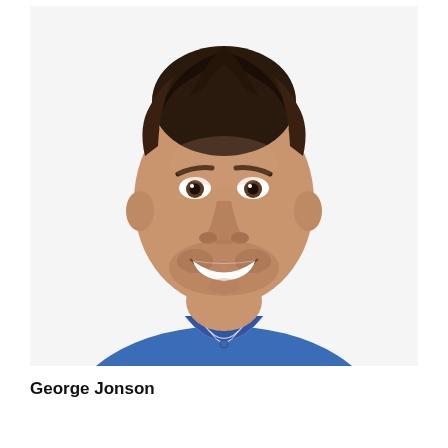[Figure (photo): Headshot photo of a man with dark hair styled upward, wearing a blue polo shirt, smiling at the camera against a white background.]
George Jonson